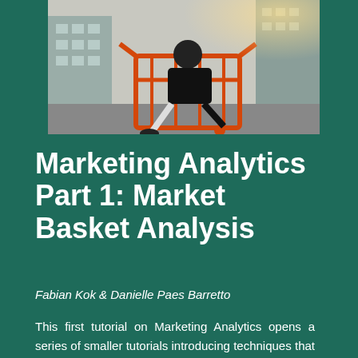[Figure (photo): Person sitting in an orange shopping cart outdoors with buildings in background]
Marketing Analytics Part 1: Market Basket Analysis
Fabian Kok & Danielle Paes Barretto
This first tutorial on Marketing Analytics opens a series of smaller tutorials introducing techniques that will help you